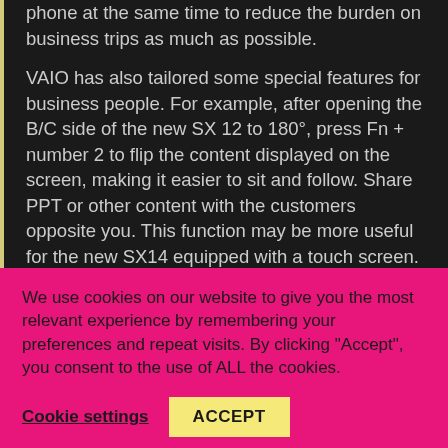phone at the same time to reduce the burden on business trips as much as possible.
VAIO has also tailored some special features for business people. For example, after opening the B/C side of the new SX 12 to 180°, press Fn + number 2 to flip the content displayed on the screen, making it easier to sit and follow. Share PPT or other content with the customers opposite you. This function may be more useful for the new SX14 equipped with a touch screen.
We use cookies on our website to give you the most relevant experience by remembering your preferences and repeat visits. By clicking "Accept", you consent to the use of ALL the cookies.
Cookie settings
ACCEPT